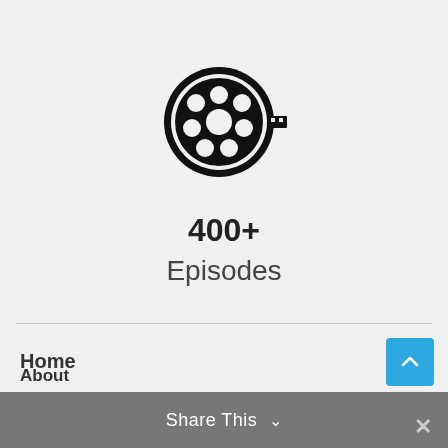[Figure (illustration): Film reel / movie reel icon in black, circular shape with holes for film]
400+
Episodes
Home
Invest
About
Podcast
Blog
Share This ∨
About